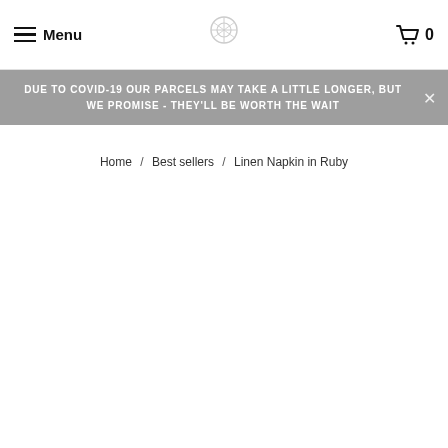Menu | [logo] | 🛒 0
DUE TO COVID-19 OUR PARCELS MAY TAKE A LITTLE LONGER, BUT WE PROMISE - THEY'LL BE WORTH THE WAIT
Home / Best sellers / Linen Napkin in Ruby